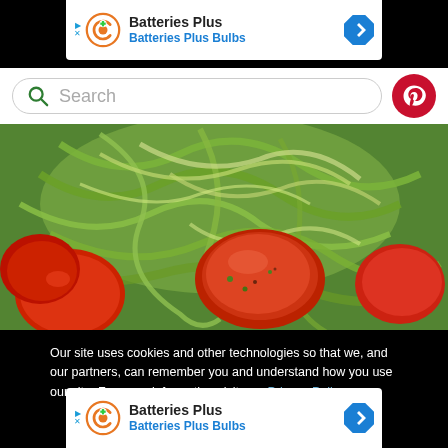[Figure (screenshot): Top advertisement banner for Batteries Plus / Batteries Plus Bulbs with orange logo, navigation arrow icon]
[Figure (screenshot): Search bar with green search icon and Pinterest red circular button]
[Figure (photo): Close-up food photo showing zucchini noodles with red tomatoes and sausage pieces]
Our site uses cookies and other technologies so that we, and our partners, can remember you and understand how you use our site. For more information visit our Privacy Policy.
[Figure (screenshot): OK button in teal/green color for cookie consent]
[Figure (screenshot): Bottom advertisement banner for Batteries Plus / Batteries Plus Bulbs with orange logo, navigation arrow icon]